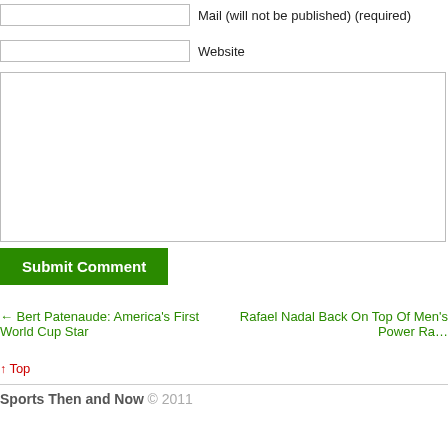Mail (will not be published) (required)
Website
Submit Comment
← Bert Patenaude: America's First World Cup Star
Rafael Nadal Back On Top Of Men's Power Ra…
↑ Top
Sports Then and Now © 2011